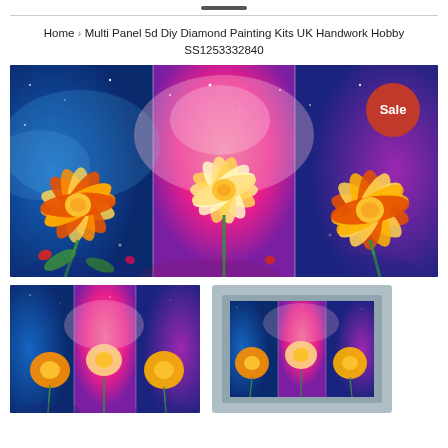Home › Multi Panel 5d Diy Diamond Painting Kits UK Handwork Hobby SS1253332840
[Figure (photo): Three-panel colorful flower painting showing orange and yellow dahlias against a vibrant pink, blue, and purple cosmic background. A red 'Sale' badge is in the top-right corner.]
[Figure (photo): Small thumbnail of the same three-panel dahlia painting.]
[Figure (photo): Small thumbnail of the three-panel dahlia painting displayed in a silver/gray frame.]